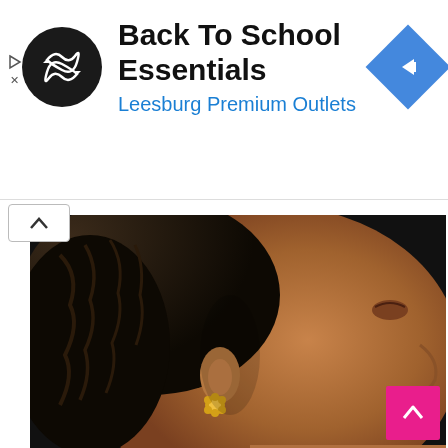[Figure (infographic): Advertisement banner for Back To School Essentials at Leesburg Premium Outlets. Features circular black logo with infinity-like arrows symbol, bold title text, blue subtitle text, and blue diamond navigation icon on the right.]
[Figure (photo): Close-up profile photo of a young Black girl with braided hair worn up, showing her ear with a gold flower earring, looking downward against a dark background.]
Children's Braids Black Hairstyles 2018